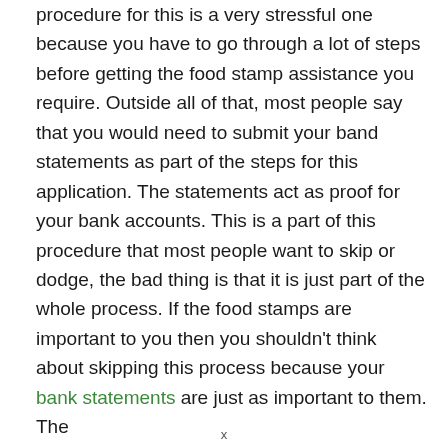procedure for this is a very stressful one because you have to go through a lot of steps before getting the food stamp assistance you require. Outside all of that, most people say that you would need to submit your band statements as part of the steps for this application. The statements act as proof for your bank accounts. This is a part of this procedure that most people want to skip or dodge, the bad thing is that it is just part of the whole process. If the food stamps are important to you then you shouldn't think about skipping this process because your bank statements are just as important to them. The
x